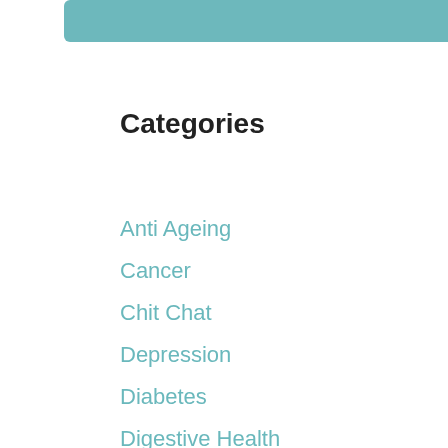[Figure (other): Teal/cyan decorative header bar at top of page]
Categories
Anti Ageing
Cancer
Chit Chat
Depression
Diabetes
Digestive Health
Featured
Health Issues
Heart
Inflammation